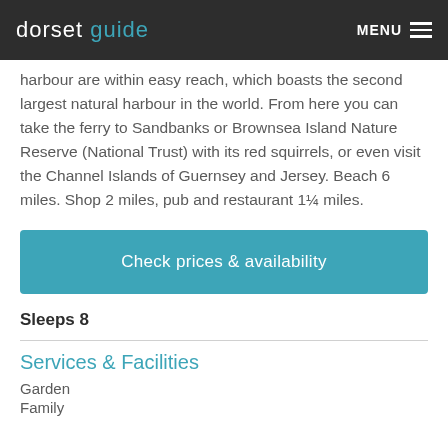dorset guide | MENU
harbour are within easy reach, which boasts the second largest natural harbour in the world. From here you can take the ferry to Sandbanks or Brownsea Island Nature Reserve (National Trust) with its red squirrels, or even visit the Channel Islands of Guernsey and Jersey. Beach 6 miles. Shop 2 miles, pub and restaurant 1¼ miles.
Check prices & availability
Sleeps 8
Services & Facilities
Garden
Family